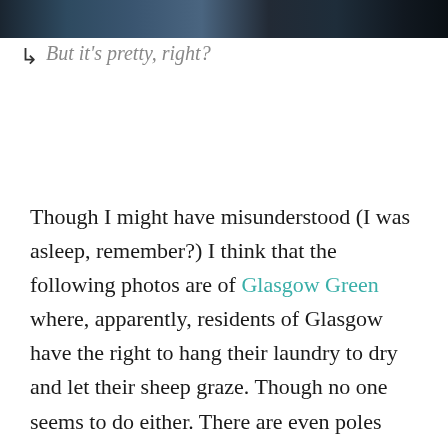[Figure (photo): Dark photo strip at top of page showing a scene, partially visible]
↳ But it's pretty, right?
Though I might have misunderstood (I was asleep, remember?) I think that the following photos are of Glasgow Green where, apparently, residents of Glasgow have the right to hang their laundry to dry and let their sheep graze. Though no one seems to do either. There are even poles onto which you can string your clotheslines. While there's a good chance your clothing will get stolen, it's definitely something I want to try someday (with, you know,